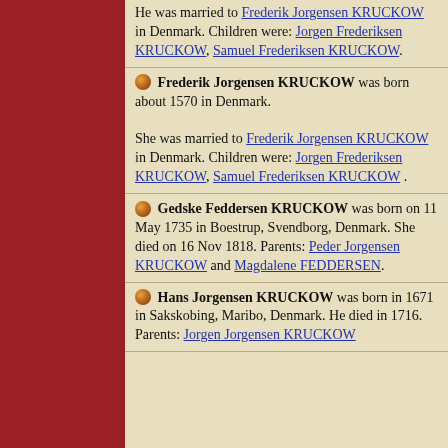He was married to Frederik Jorgensen KRUCKOW in Denmark. Children were: Jorgen Frederiksen KRUCKOW, Samuel Frederiksen KRUCKOW.
Frederik Jorgensen KRUCKOW was born about 1570 in Denmark. She was married to Frederik Jorgensen KRUCKOW in Denmark. Children were: Jorgen Frederiksen KRUCKOW, Samuel Frederiksen KRUCKOW.
Gedske Feddersen KRUCKOW was born on 11 May 1735 in Boestrup, Svendborg, Denmark. She died on 16 Nov 1818. Parents: Peder Jorgensen KRUCKOW and Magdalene FEDDERSEN.
Hans Jorgensen KRUCKOW was born in 1671 in Sakskobing, Maribo, Denmark. He died in 1716. Parents: Jorgen Jorgensen KRUCKOW